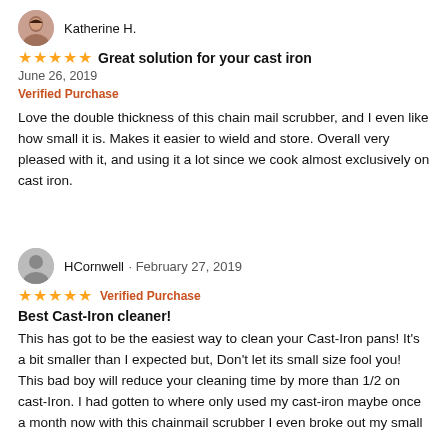[Figure (photo): Round avatar photo of Katherine H., a woman with dark hair]
Katherine H.
★★★★★ Great solution for your cast iron
June 26, 2019
Verified Purchase
Love the double thickness of this chain mail scrubber, and I even like how small it is. Makes it easier to wield and store. Overall very pleased with it, and using it a lot since we cook almost exclusively on cast iron.
[Figure (illustration): Round generic user avatar icon (grey silhouette)]
HCornwell · February 27, 2019
★★★★★ Verified Purchase
Best Cast-Iron cleaner!
This has got to be the easiest way to clean your Cast-Iron pans! It's a bit smaller than I expected but, Don't let its small size fool you! This bad boy will reduce your cleaning time by more than 1/2 on cast-Iron. I had gotten to where only used my cast-iron maybe once a month now with this chainmail scrubber I even broke out my small